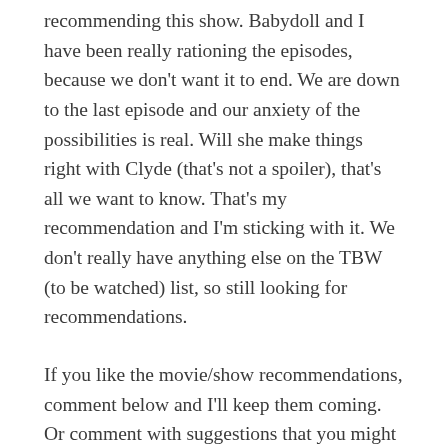recommending this show. Babydoll and I have been really rationing the episodes, because we don't want it to end. We are down to the last episode and our anxiety of the possibilities is real. Will she make things right with Clyde (that's not a spoiler), that's all we want to know. That's my recommendation and I'm sticking with it. We don't really have anything else on the TBW (to be watched) list, so still looking for recommendations.
If you like the movie/show recommendations, comment below and I'll keep them coming. Or comment with suggestions that you might have. To all the new subscribers, thanks so much for joining, I get a thrill every time I'm notified there's someone new. Let me know if there's something you would love me to write about. I'm thinking of doing a budget with me